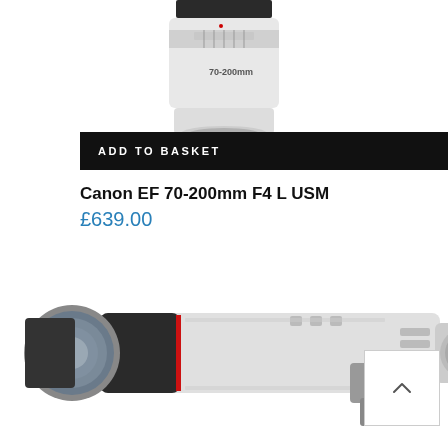[Figure (photo): Top portion of a white Canon EF 70-200mm F4 L USM telephoto lens, showing the barrel and zoom ring markings, viewed from above/front.]
ADD TO BASKET
Canon EF 70-200mm F4 L USM
£639.00
[Figure (photo): A large white Canon telephoto lens (500mm or 600mm super-telephoto) with black rubber grip, shown on its side with tripod collar, lens mount visible, on a white background.]